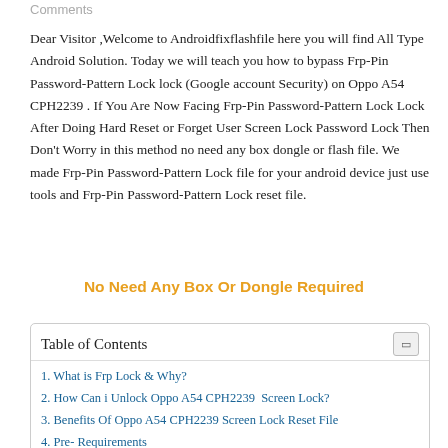Comments
Dear Visitor ,Welcome to Androidfixflashfile here you will find All Type Android Solution. Today we will teach you how to bypass Frp-Pin Password-Pattern Lock lock (Google account Security) on Oppo A54 CPH2239 . If You Are Now Facing Frp-Pin Password-Pattern Lock Lock After Doing Hard Reset or Forget User Screen Lock Password Lock Then Don’t Worry in this method no need any box dongle or flash file. We made Frp-Pin Password-Pattern Lock file for your android device just use tools and Frp-Pin Password-Pattern Lock reset file.
No Need Any Box Or Dongle Required
| Table of Contents |
| --- |
| 1. What is Frp Lock & Why? |
| 2. How Can i Unlock Oppo A54 CPH2239  Screen Lock? |
| 3. Benefits Of Oppo A54 CPH2239 Screen Lock Reset File |
| 4. Pre- Requirements |
| 5. How To Use Oppo A54 CPH2239 Lock Reset File |